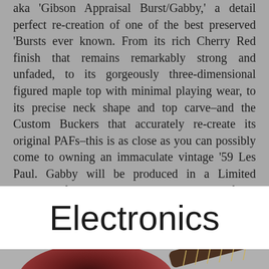aka 'Gibson Appraisal Burst/Gabby,' a detail perfect re-creation of one of the best preserved 'Bursts ever known. From its rich Cherry Red finish that remains remarkably strong and unfaded, to its gorgeously three-dimensional figured maple top with minimal playing wear, to its precise neck shape and top carve–and the Custom Buckers that accurately re-create its original PAFs–this is as close as you can possibly come to owning an immaculate vintage '59 Les Paul. Gabby will be produced in a Limited Edition of up to 300 guitars, as qualifying materials allow.
Electronics
[Figure (photo): Bottom portion of a dark reddish-brown guitar body visible at the bottom of the page]